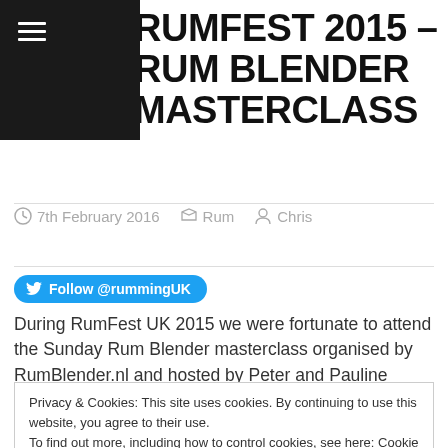RUMFEST 2015 – RUM BLENDER MASTERCLASS
7th February 2016   Rum   Chris
[Figure (other): Twitter Follow button: Follow @rummingUK]
During RumFest UK 2015 we were fortunate to attend the Sunday Rum Blender masterclass organised by RumBlender.nl and hosted by Peter and Pauline
Privacy & Cookies: This site uses cookies. By continuing to use this website, you agree to their use.
To find out more, including how to control cookies, see here: Cookie Policy
Close and accept
VIP ticket!. This masterclass had a very limited capacity